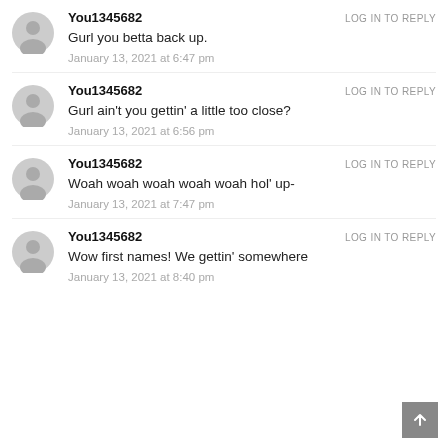You1345682 — LOG IN TO REPLY
Gurl you betta back up.
January 13, 2021 at 6:47 pm
You1345682 — LOG IN TO REPLY
Gurl ain't you gettin' a little too close?
January 13, 2021 at 6:56 pm
You1345682 — LOG IN TO REPLY
Woah woah woah woah woah hol' up-
January 13, 2021 at 7:47 pm
You1345682 — LOG IN TO REPLY
Wow first names! We gettin' somewhere
January 13, 2021 at 8:40 pm